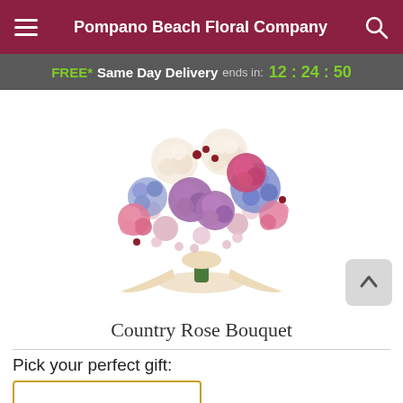Pompano Beach Floral Company
FREE* Same Day Delivery ends in: 12:24:50
[Figure (photo): Country Rose Bouquet - a floral bouquet with cream roses, pink roses, purple roses, pink carnations, blue hydrangeas, and small filler flowers, tied with a cream ribbon bow]
Country Rose Bouquet
Pick your perfect gift: